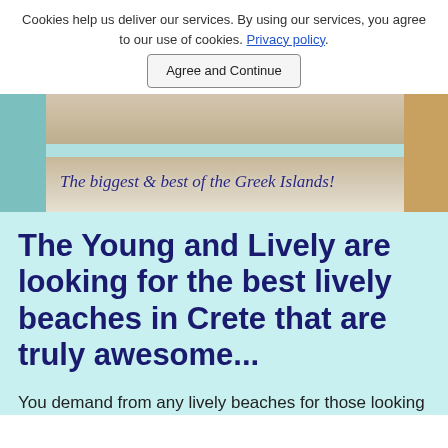Cookies help us deliver our services. By using our services, you agree to our use of cookies. Privacy policy.
Agree and Continue
[Figure (photo): Hero image showing ancient Greek stone columns/ruins with text overlay 'The biggest & best of the Greek Islands!' and teal side panels]
The Young and Lively are looking for the best lively beaches in Crete that are truly awesome...
You demand from any lively beaches for those looking